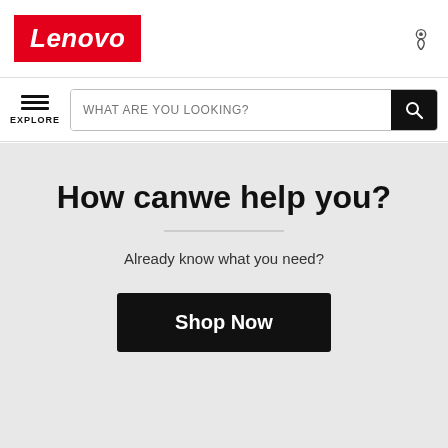[Figure (logo): Lenovo red logo in top-left header]
[Figure (other): Location/store pin icon in top-right header]
[Figure (other): Hamburger menu icon with EXPLORE label and search bar with WHAT ARE YOU LOOKING? placeholder and black search button]
How canwe help you?
Already know what you need?
Shop Now